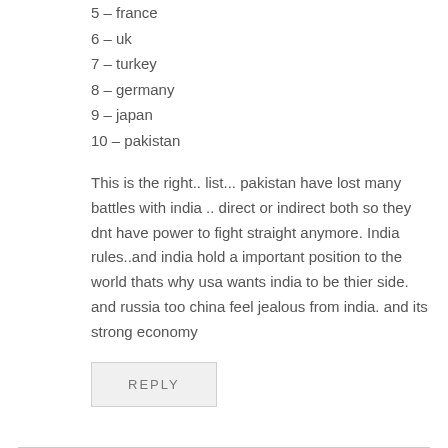5 – france
6 – uk
7 – turkey
8 – germany
9 – japan
10 – pakistan
This is the right.. list... pakistan have lost many battles with india .. direct or indirect both so they dnt have power to fight straight anymore. India rules..and india hold a important position to the world thats why usa wants india to be thier side. and russia too china feel jealous from india. and its strong economy
REPLY